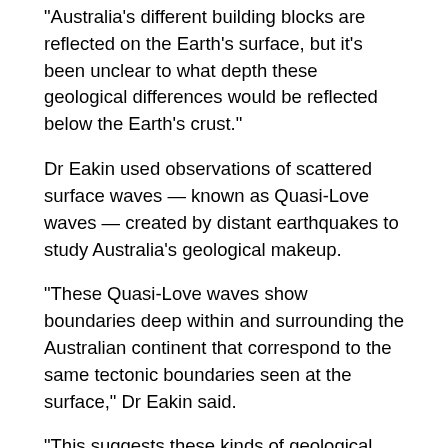“Australia’s different building blocks are reflected on the Earth's surface, but it's been unclear to what depth these geological differences would be reflected below the Earth's crust.”
Dr Eakin used observations of scattered surface waves — known as Quasi-Love waves — created by distant earthquakes to study Australia's geological makeup.
“These Quasi-Love waves show boundaries deep within and surrounding the Australian continent that correspond to the same tectonic boundaries seen at the surface,” Dr Eakin said.
“This suggests these kinds of geological features are preserved for billions of years.”
According to Dr Eakin this new information about what’s